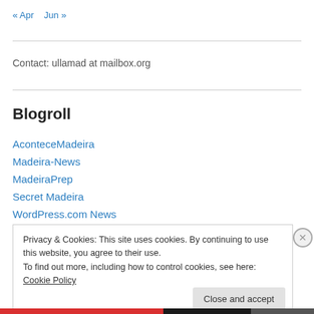« Apr   Jun »
Contact: ullamad at mailbox.org
Blogroll
AconteceMadeira
Madeira-News
MadeiraPrep
Secret Madeira
WordPress.com News
Privacy & Cookies: This site uses cookies. By continuing to use this website, you agree to their use.
To find out more, including how to control cookies, see here: Cookie Policy
Close and accept